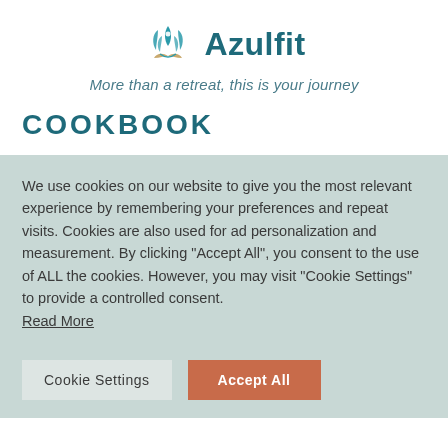[Figure (logo): Azulfit logo: teal lotus/leaf flower icon with a circular element, next to the text 'Azulfit' in dark teal bold font]
More than a retreat, this is your journey
COOKBOOK
We use cookies on our website to give you the most relevant experience by remembering your preferences and repeat visits. Cookies are also used for ad personalization and measurement. By clicking "Accept All", you consent to the use of ALL the cookies. However, you may visit "Cookie Settings" to provide a controlled consent.
Read More
Cookie Settings
Accept All